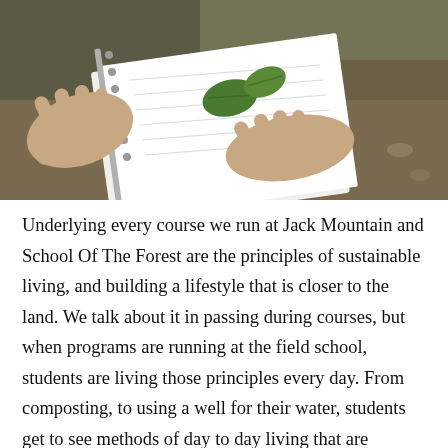[Figure (photo): Close-up photograph of two hands holding open a spiral-bound notebook with green leaves placed on it, resting on rocky soil ground.]
Underlying every course we run at Jack Mountain and School Of The Forest are the principles of sustainable living, and building a lifestyle that is closer to the land. We talk about it in passing during courses, but when programs are running at the field school, students are living those principles every day. From composting, to using a well for their water, students get to see methods of day to day living that are simple, effective and for the most part, self-reliant.